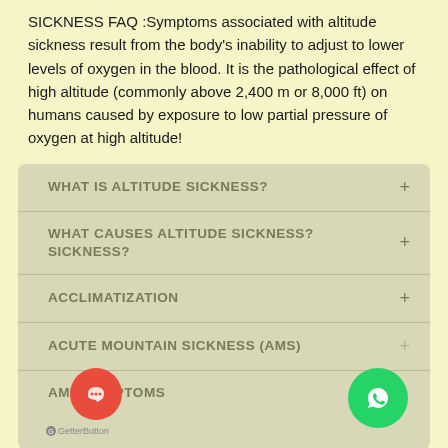SICKNESS FAQ :Symptoms associated with altitude sickness result from the body's inability to adjust to lower levels of oxygen in the blood. It is the pathological effect of high altitude (commonly above 2,400 m or 8,000 ft) on humans caused by exposure to low partial pressure of oxygen at high altitude!
WHAT IS ALTITUDE SICKNESS? +
WHAT CAUSES ALTITUDE SICKNESS? SICKNESS? +
ACCLIMATIZATION +
ACUTE MOUNTAIN SICKNESS (AMS) +
AMS SYMPTOMS